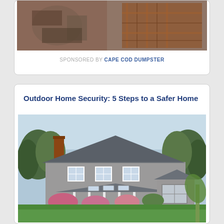[Figure (photo): Cluttered room with household items, plaid furniture visible]
SPONSORED BY CAPE COD DUMPSTER
Outdoor Home Security: 5 Steps to a Safer Home
[Figure (photo): Exterior photo of a large New England style shingle house with green lawn, trees, chimney, and covered porch]